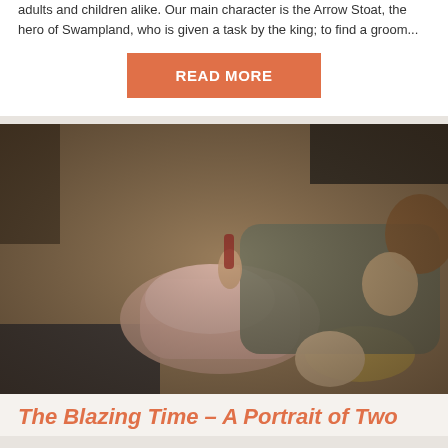adults and children alike. Our main character is the Arrow Stoat, the hero of Swampland, who is given a task by the king; to find a groom...
READ MORE
[Figure (photo): Two women lying on the floor looking up at the camera. One is wearing a pink top, the other a grey outfit.]
The Blazing Time – A Portrait of Two